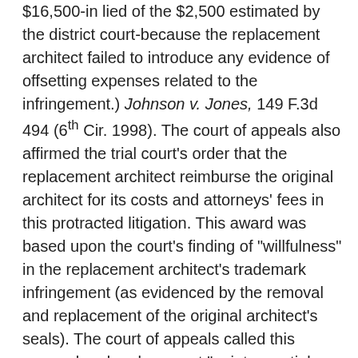$16,500-in lied of the $2,500 estimated by the district court-because the replacement architect failed to introduce any evidence of offsetting expenses related to the infringement.) Johnson v. Jones, 149 F.3d 494 (6th Cir. 1998). The court of appeals also affirmed the trial court's order that the replacement architect reimburse the original architect for its costs and attorneys' fees in this protracted litigation. This award was based upon the court's finding of "willfulness" in the replacement architect's trademark infringement (as evidenced by the removal and replacement of the original architect's seals). The court of appeals called this removal and replacement "quintessential 'reverse passing off . . . [and a] deliberate theft of a marketholder's goodwill [which was] more egregious than ordinary passing off, as it involved actual theft.'" Id. at 504.
The court of appeals expressly rejected the replacement architect's argument that the original architect faithfully...